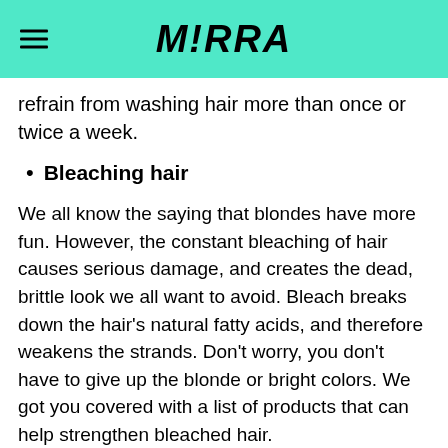M!RRA
refrain from washing hair more than once or twice a week.
Bleaching hair
We all know the saying that blondes have more fun. However, the constant bleaching of hair causes serious damage, and creates the dead, brittle look we all want to avoid. Bleach breaks down the hair's natural fatty acids, and therefore weakens the strands. Don't worry, you don't have to give up the blonde or bright colors. We got you covered with a list of products that can help strengthen bleached hair.
[Figure (photo): Partial photo of a person holding something, visible from bottom of page]